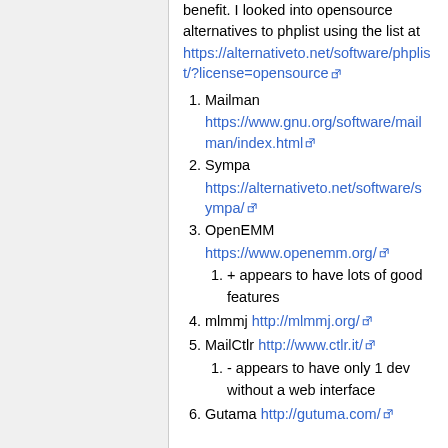benefit. I looked into opensource alternatives to phplist using the list at https://alternativeto.net/software/phplist/?license=opensource
1. Mailman https://www.gnu.org/software/mailman/index.html
2. Sympa https://alternativeto.net/software/sympa/
3. OpenEMM https://www.openemm.org/
1. + appears to have lots of good features
4. mlmmj http://mlmmj.org/
5. MailCtlr http://www.ctlr.it/
1. - appears to have only 1 dev without a web interface
6. Gutama http://gutuma.com/